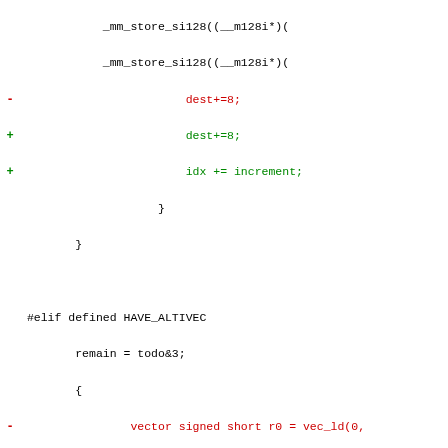[Figure (other): A code diff view showing C source code with red (removed) and green (added) lines. The code involves mm_store_si128, dest+=8, idx+=increment, closing braces, #elif defined HAVE_ALTIVEC, remain=todo&3, vector signed short declarations, SWORD s[8], and more vector operations.]